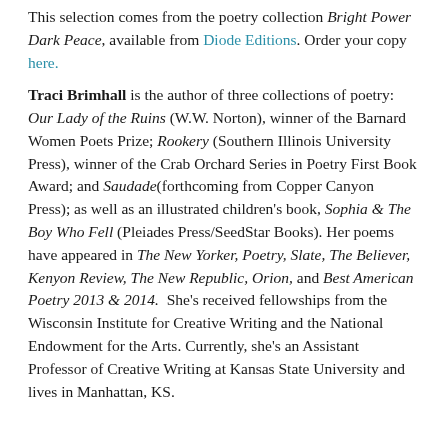This selection comes from the poetry collection Bright Power Dark Peace, available from Diode Editions. Order your copy here.
Traci Brimhall is the author of three collections of poetry: Our Lady of the Ruins (W.W. Norton), winner of the Barnard Women Poets Prize; Rookery (Southern Illinois University Press), winner of the Crab Orchard Series in Poetry First Book Award; and Saudade(forthcoming from Copper Canyon Press); as well as an illustrated children's book, Sophia & The Boy Who Fell (Pleiades Press/SeedStar Books). Her poems have appeared in The New Yorker, Poetry, Slate, The Believer, Kenyon Review, The New Republic, Orion, and Best American Poetry 2013 & 2014.  She's received fellowships from the Wisconsin Institute for Creative Writing and the National Endowment for the Arts. Currently, she's an Assistant Professor of Creative Writing at Kansas State University and lives in Manhattan, KS.